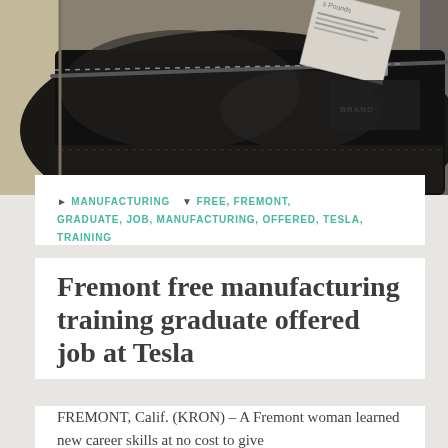[Figure (photo): Photo of a black leather zipper purse/wallet with papers peeking out, on a beige surface]
MANUFACTURING  FREE, FREMONT, GRADUATE, JOB, MANUFACTURING, OFFERED, TESLA, TRAINING
Fremont free manufacturing training graduate offered job at Tesla
FREMONT, Calif. (KRON) – A Fremont woman learned new career skills at no cost to give